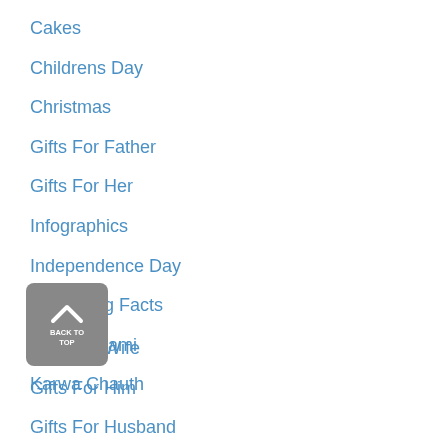Cakes
Childrens Day
Christmas
Gifts For Father
Gifts For Her
Infographics
Independence Day
Interesting Facts
Janmashtami
Karwa Chauth
[Figure (other): Back to top button with upward chevron arrow and text BACK TO TOP]
Gifts For Wife
Gifts For Him
Gifts For Husband
Gifts For Mother
Gifts For Parents